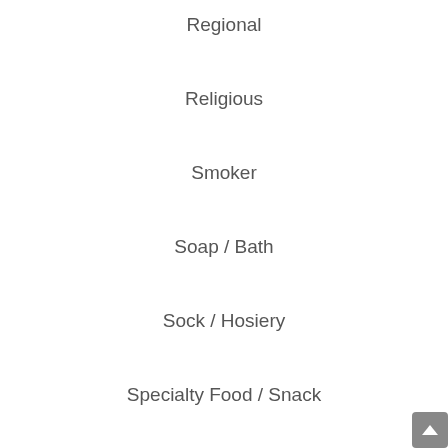Regional
Religious
Smoker
Soap / Bath
Sock / Hosiery
Specialty Food / Snack
Sports / Outdoors
Stationery / Paper
Teen / Tween
Time of the Month
X-Rated / Adult